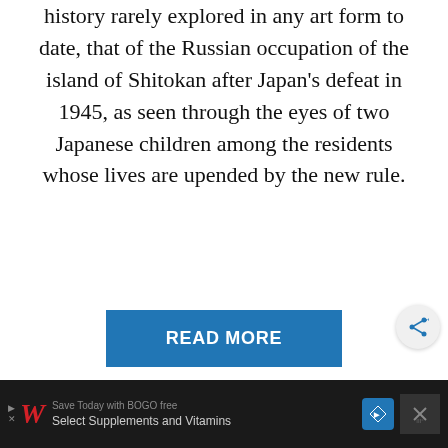history rarely explored in any art form to date, that of the Russian occupation of the island of Shitokan after Japan's defeat in 1945, as seen through the eyes of two Japanese children among the residents whose lives are upended by the new rule.
READ MORE
[Figure (photo): Two-panel photograph: left panel shows green foliage against a stone wall; right panel shows a shirtless person photographed from behind against a dark teal background.]
Save Today with BOGO free Select Supplements and Vitamins